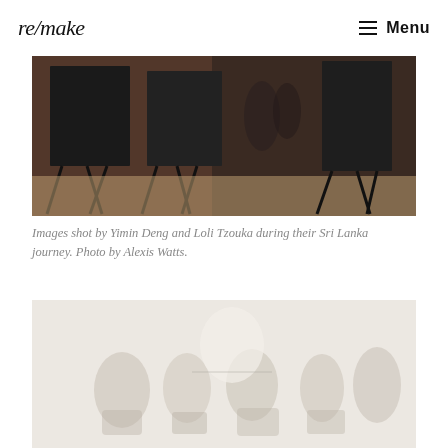re/make  Menu
[Figure (photo): Dark indoor photo showing easels/tripods and artwork display in a dim room with warm-colored walls]
Images shot by Yimin Deng and Loli Tzouka during their Sri Lanka journey. Photo by Alexis Watts.
[Figure (photo): Light, washed-out photo of people or objects in a bright setting, low contrast, appears to show figures with bags or items]